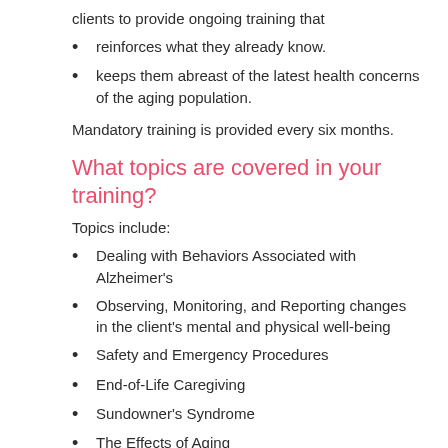clients to provide ongoing training that
reinforces what they already know.
keeps them abreast of the latest health concerns of the aging population.
Mandatory training is provided every six months.
What topics are covered in your training?
Topics include:
Dealing with Behaviors Associated with Alzheimer's
Observing, Monitoring, and Reporting changes in the client's mental and physical well-being
Safety and Emergency Procedures
End-of-Life Caregiving
Sundowner's Syndrome
The Effects of Aging
Depression in the Senior Population